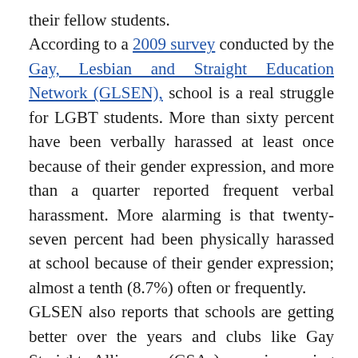their fellow students. According to a 2009 survey conducted by the Gay, Lesbian and Straight Education Network (GLSEN), school is a real struggle for LGBT students. More than sixty percent have been verbally harassed at least once because of their gender expression, and more than a quarter reported frequent verbal harassment. More alarming is that twenty-seven percent had been physically harassed at school because of their gender expression; almost a tenth (8.7%) often or frequently. GLSEN also reports that schools are getting better over the years and clubs like Gay Straight Alliances (GSAs) are improving school climates. The It Gets Better Project has over